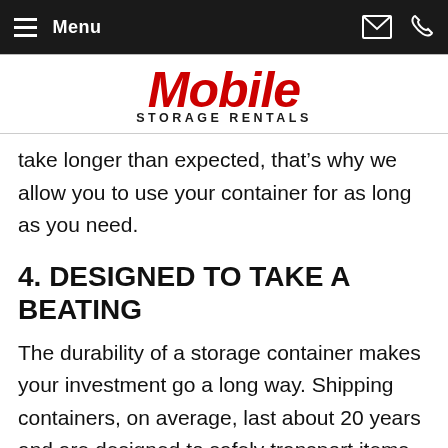Menu
[Figure (logo): Mobile Storage Rentals logo with red italic 'Mobile' and black 'STORAGE RENTALS' subtitle]
take longer than expected, that's why we allow you to use your container for as long as you need.
4. DESIGNED TO TAKE A BEATING
The durability of a storage container makes your investment go a long way. Shipping containers, on average, last about 20 years and are designed to safely transport items long